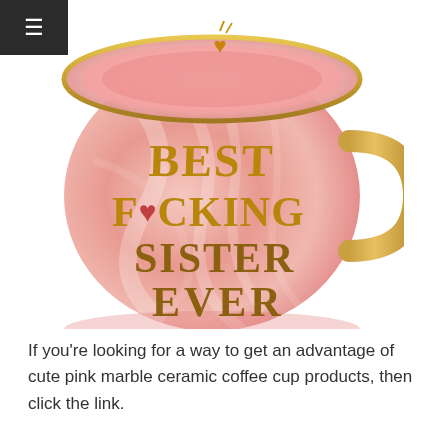[Figure (photo): Pink marble ceramic coffee mug with gold lettering reading 'BEST F*CKING SISTER EVER' and a gold heart on the lid. The mug has a gold rim and gold handle.]
If you're looking for a way to get an advantage of cute pink marble ceramic coffee cup products, then click the link.